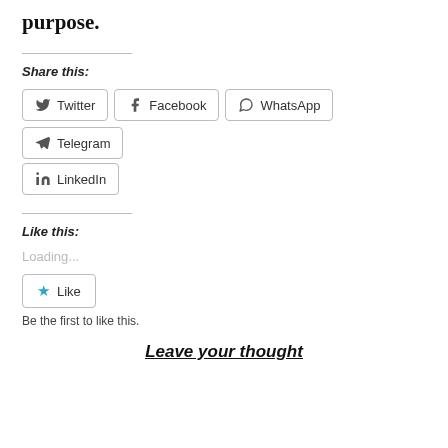purpose.
Share this:
[Figure (other): Social share buttons: Twitter, Facebook, WhatsApp, Telegram, LinkedIn]
Like this:
Loading...
[Figure (other): Like button with star icon]
Be the first to like this.
Leave your thought